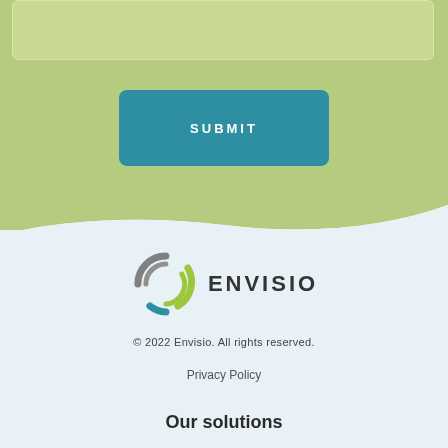[Figure (screenshot): Green background form area with a light green input text box at the top and a teal SUBMIT button below it]
[Figure (logo): Envisio logo with a circular arc icon in gray and green-yellow on the left and the word ENVISIO in dark gray uppercase letters on the right]
© 2022 Envisio. All rights reserved.
Privacy Policy
Our solutions